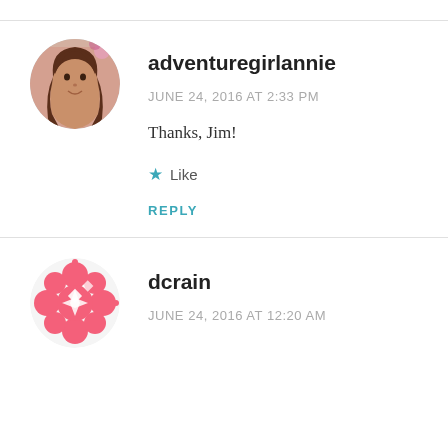[Figure (photo): Circular avatar photo of adventuregirlannie — a woman with long brown hair]
adventuregirlannie
JUNE 24, 2016 AT 2:33 PM
Thanks, Jim!
★ Like
REPLY
[Figure (logo): Circular pink decorative avatar icon for dcrain — floral/geometric pink pattern]
dcrain
JUNE 24, 2016 AT 12:20 AM